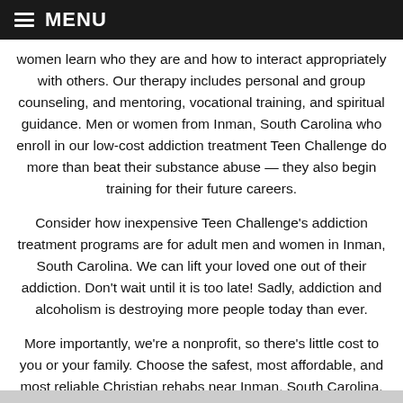MENU
women learn who they are and how to interact appropriately with others. Our therapy includes personal and group counseling, and mentoring, vocational training, and spiritual guidance. Men or women from Inman, South Carolina who enroll in our low-cost addiction treatment Teen Challenge do more than beat their substance abuse — they also begin training for their future careers.
Consider how inexpensive Teen Challenge's addiction treatment programs are for adult men and women in Inman, South Carolina. We can lift your loved one out of their addiction. Don't wait until it is too late! Sadly, addiction and alcoholism is destroying more people today than ever.
More importantly, we're a nonprofit, so there's little cost to you or your family. Choose the safest, most affordable, and most reliable Christian rehabs near Inman, South Carolina.